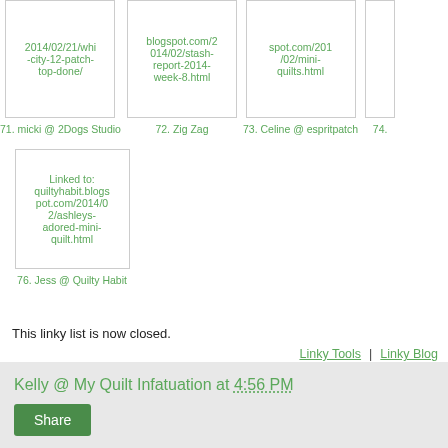[Figure (screenshot): Thumbnail image box with URL text: 2014/02/21/whi-city-12-patch-top-done/]
71. micki @ 2Dogs Studio
[Figure (screenshot): Thumbnail image box with URL text: blogspot.com/2014/02/stash-report-2014-week-8.html]
72. Zig Zag
[Figure (screenshot): Thumbnail image box with URL text: spot.com/2014/02/mini-quilts.html]
73. Celine @ espritpatch
74.
[Figure (screenshot): Thumbnail image box with URL text: Linked to: quiltyhabit.blogspot.com/2014/02/ashleys-adored-mini-quilt.html]
76. Jess @ Quilty Habit
This linky list is now closed.
Linky Tools  |  Linky Blog
Kelly @ My Quilt Infatuation at 4:56 PM
Share